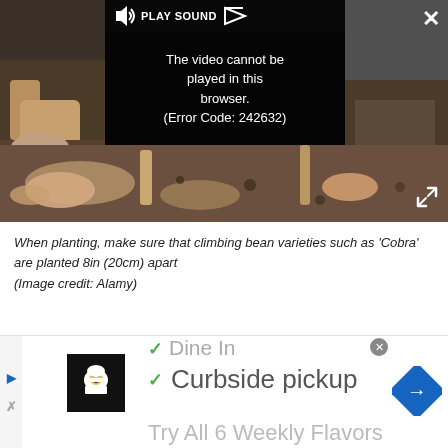[Figure (screenshot): Video player showing an error message overlay: 'The video cannot be played in this browser. (Error Code: 242632)' with a PLAY SOUND button bar at top, close X button top-right, expand button bottom-right, and a background soil/hands photograph.]
When planting, make sure that climbing bean varieties such as 'Cobra' are planted 8in (20cm) apart
(Image credit: Alamy)
[Figure (screenshot): Advertisement banner showing a restaurant logo (cartoon chef), checkmarks for 'Dine In' (partially visible), 'Curbside pickup', and partial text 'Try All 6 Weekly Flavors', with a blue diamond navigation arrow on the right and skip/close controls on the left.]